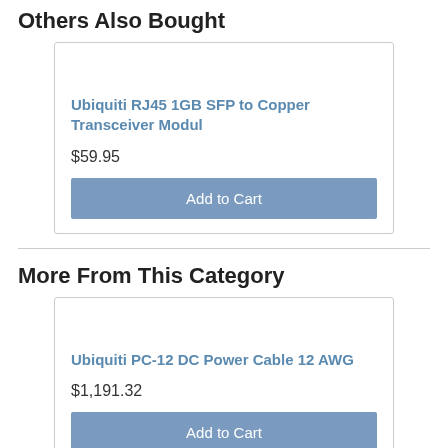Others Also Bought
Ubiquiti RJ45 1GB SFP to Copper Transceiver Modul
$59.95
Add to Cart
More From This Category
Ubiquiti PC-12 DC Power Cable 12 AWG
$1,191.32
Add to Cart